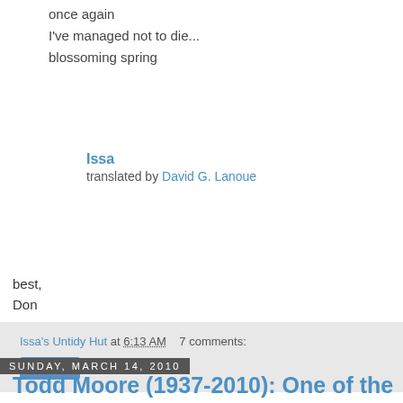once again
I've managed not to die...
blossoming spring
Issa
translated by David G. Lanoue
best,
Don
Issa's Untidy Hut at 6:13 AM   7 comments:
Share
Sunday, March 14, 2010
Todd Moore (1937-2010): One of the